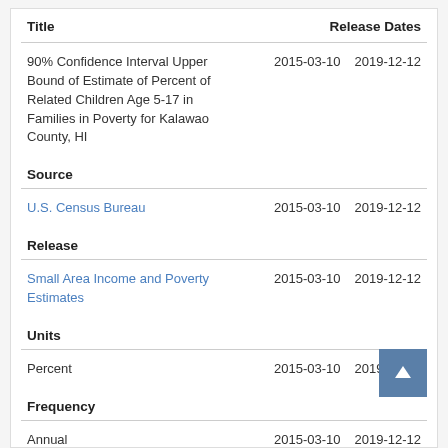| Title | Release Dates |
| --- | --- |
| 90% Confidence Interval Upper Bound of Estimate of Percent of Related Children Age 5-17 in Families in Poverty for Kalawao County, HI | 2015-03-10  2019-12-12 |
Source
| Source | Release Dates |
| --- | --- |
| U.S. Census Bureau | 2015-03-10  2019-12-12 |
Release
| Release | Release Dates |
| --- | --- |
| Small Area Income and Poverty Estimates | 2015-03-10  2019-12-12 |
Units
| Units | Release Dates |
| --- | --- |
| Percent | 2015-03-10  2019-12-12 |
Frequency
| Frequency | Release Dates |
| --- | --- |
| Annual | 2015-03-10  2019-12-12 |
Seasonal Adjustment